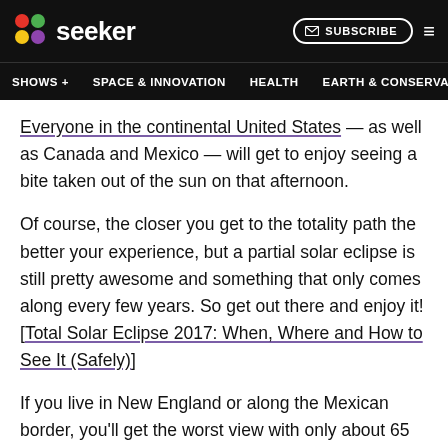seeker — SHOWS + | SPACE & INNOVATION | HEALTH | EARTH & CONSERVA
Everyone in the continental United States — as well as Canada and Mexico — will get to enjoy seeing a bite taken out of the sun on that afternoon.
Of course, the closer you get to the totality path the better your experience, but a partial solar eclipse is still pretty awesome and something that only comes along every few years. So get out there and enjoy it! [Total Solar Eclipse 2017: When, Where and How to See It (Safely)]
If you live in New England or along the Mexican border, you'll get the worst view with only about 65 percent of the sun covered by the moon. The closer you get to the northwest-to-southeast line, though, the more spectacular your show will be, with almost all states enjoying at least